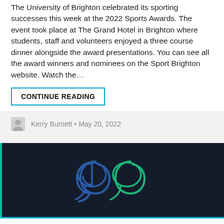The University of Brighton celebrated its sporting successes this week at the 2022 Sports Awards. The event took place at The Grand Hotel in Brighton where students, staff and volunteers enjoyed a three course dinner alongside the award presentations. You can see all the award winners and nominees on the Sport Brighton website. Watch the…
CONTINUE READING
Kerry Burnett • May 20, 2022
[Figure (logo): Dark navy background with a stylized double-quotation mark logo in blue and green outlines, with a teal left border stripe.]
We use cookies to personalise content, to provide social media features and to analyse our traffic. Read our detailed cookie policy